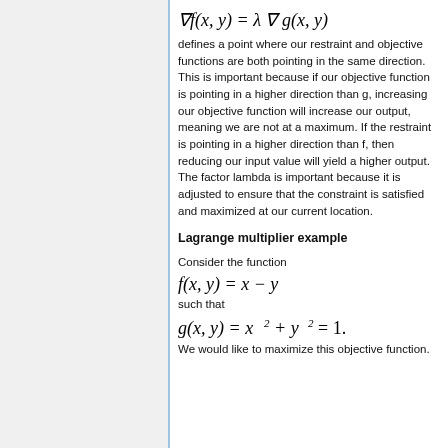∇f(x,y) = λ∇g(x,y) defines a point where our restraint and objective functions are both pointing in the same direction. This is important because if our objective function is pointing in a higher direction than g, increasing our objective function will increase our output, meaning we are not at a maximum. If the restraint is pointing in a higher direction than f, then reducing our input value will yield a higher output. The factor lambda is important because it is adjusted to ensure that the constraint is satisfied and maximized at our current location.
Lagrange multiplier example
Consider the function f(x,y) = x − y such that g(x,y) = x² + y² = 1. We would like to maximize this objective function.